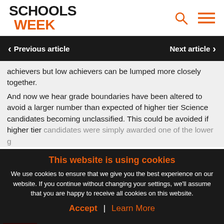SCHOOLS WEEK
Previous article | Next article
achievers but low achievers can be lumped more closely together.
And now we hear grade boundaries have been altered to avoid a larger number than expected of higher tier Science candidates becoming unclassified. This could be avoided if higher tier candidates were simply awarded one of the lower g
This website is using cookies
We use cookies to ensure that we give you the best experience on our website. If you continue without changing your settings, we'll assume that you are happy to receive all cookies on this website.
Accept | Learn More
NPO 20... APPLICATIONS NOW OPEN | FUNDED | APPLY NOW